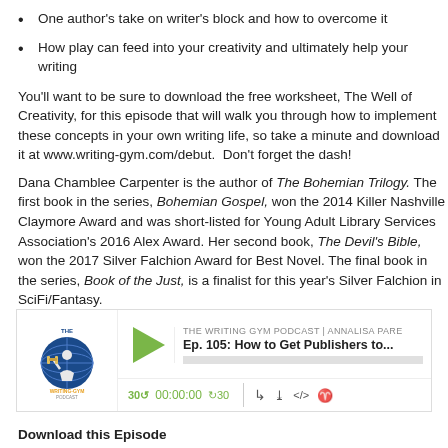One author's take on writer's block and how to overcome it
How play can feed into your creativity and ultimately help your writing
You'll want to be sure to download the free worksheet, The Well of Creativity, for this episode that will walk you through how to implement these concepts in your own writing life, so take a minute and download it at www.writing-gym.com/debut.  Don't forget the dash!
Dana Chamblee Carpenter is the author of The Bohemian Trilogy. The first book in the series, Bohemian Gospel, won the 2014 Killer Nashville Claymore Award and was short-listed for Young Adult Library Services Association's 2016 Alex Award. Her second book, The Devil's Bible, won the 2017 Silver Falchion Award for Best Novel. The final book in the series, Book of the Just, is a finalist for this year's Silver Falchion in SciFi/Fantasy.
[Figure (screenshot): Podcast player widget for The Writing Gym Podcast, episode Ep. 105: How to Get Publishers to... with play button, time controls showing 00:00:00, skip back 30 and forward 30 controls, and icons for RSS, download, embed, and accessibility.]
Download this Episode